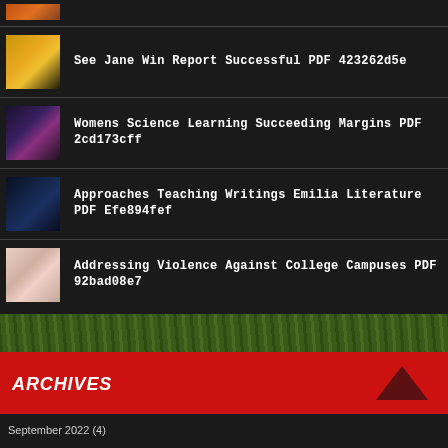See Jane Win Report Successful PDF 423262d5e
Womens Science Learning Succeeding Margins PDF 2cd173cff
Approaches Teaching Writings Emilia Literature PDF Efe894fef
Addressing Violence Against College Campuses PDF 92bad08e7
ARCHIVES
September 2022 (4)